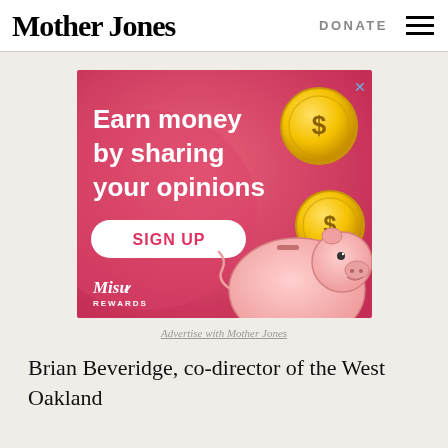Mother Jones | DONATE
[Figure (illustration): Advertisement banner for MisoRewards showing 'Earn money by sharing your opinions' with a SIGN UP button, gold coins, and a cartoon piggy bank on a pink/red gradient background.]
Advertise with Mother Jones
Brian Beveridge, co-director of the West Oakland